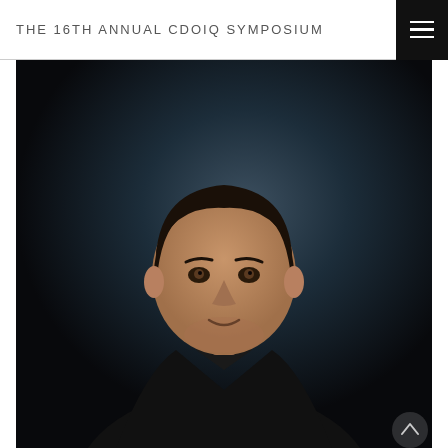THE 16TH ANNUAL CDOIQ SYMPOSIUM
[Figure (photo): Professional headshot of a man in a black suit against a dark background, smiling slightly, at the 16th Annual CDOIQ Symposium speaker page.]